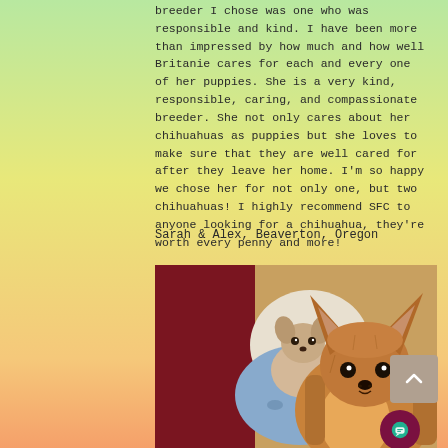breeder I chose was one who was responsible and kind. I have been more than impressed by how much and how well Britanie cares for each and every one of her puppies. She is a very kind, responsible, caring, and compassionate breeder. She not only cares about her chihuahuas as puppies but she loves to make sure that they are well cared for after they leave her home. I'm so happy we chose her for not only one, but two chihuahuas! I highly recommend SFC to anyone looking for a chihuahua, they're worth every penny and more!
Sarah & Alex, Beaverton, Oregon
[Figure (photo): Photo of two chihuahuas — a larger golden-brown long-haired chihuahua in the foreground and a smaller light-colored chihuahua wrapped in a blue blanket in the background, both resting on dark red fabric.]